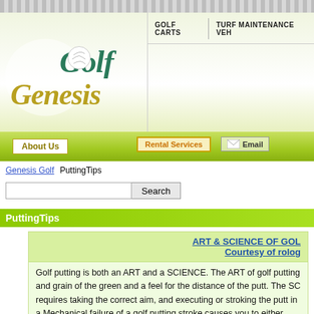[Figure (logo): Golf Genesis logo with golf ball in letter O and cursive Genesis text in olive/gold color]
GOLF CARTS   TURF MAINTENANCE VEH...
About Us  |  Rental Services  |  Email
Genesis Golf   PuttingTips
Search
PuttingTips
ART & SCIENCE OF GOL... Courtesy of rolog...
Golf putting is both an ART and a SCIENCE. The ART of golf putting ... and grain of the green and a feel for the distance of the putt. The SC... requires taking the correct aim, and executing or stroking the putt in a... Mechanical failure of a golf putting stroke causes you to either 'push' ... 'pull' the golf putter off of the intended line to the left. 'Pushed' or 'Pul... the golf ball to 'spin out' of the hole unless the golf ball hits the cup de... occurs in the small muscles of the hands, arms and wrists. You can a... putting by transferring the mechanical action of your stroke from the...